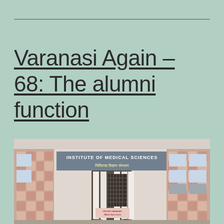Varanasi Again – 68: The alumni function
[Figure (photo): Photograph of the entrance of the Institute of Medical Sciences (IMS), showing a large building with checkered red and white stone cladding, white columns at the entrance, a signboard reading 'INSTITUTE OF MEDICAL SCIENCES' and below it 'चिकित्सा विज्ञान संस्थान' in Hindi, windows with air conditioning units on the right side.]